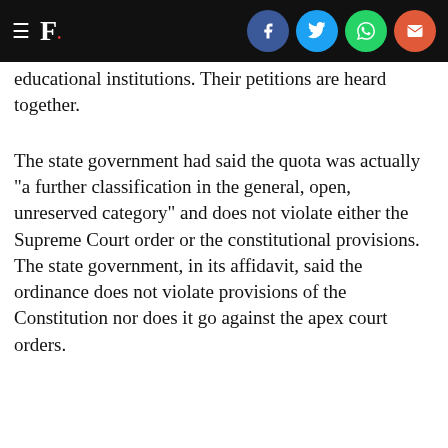F. [logo with hamburger menu and social share icons]
educational institutions. Their petitions are heard together.
The state government had said the quota was actually "a further classification in the general, open, unreserved category" and does not violate either the Supreme Court order or the constitutional provisions. The state government, in its affidavit, said the ordinance does not violate provisions of the Constitution nor does it go against the apex court orders.